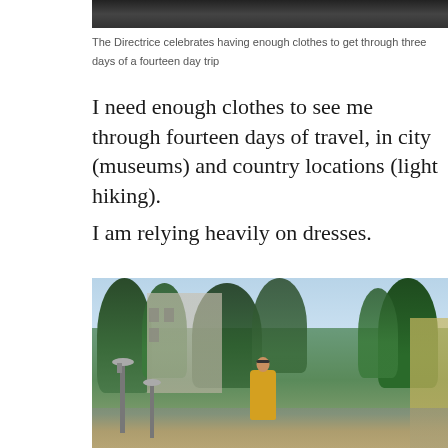[Figure (photo): Top portion of photo showing The Directrice, cropped at top of page]
The Directrice celebrates having enough clothes to get through three days of a fourteen day trip
I need enough clothes to see me through fourteen days of travel, in city (museums) and country locations (light hiking).
I am relying heavily on dresses.
[Figure (photo): Woman in yellow dress standing on a city street lined with trees and historic buildings]